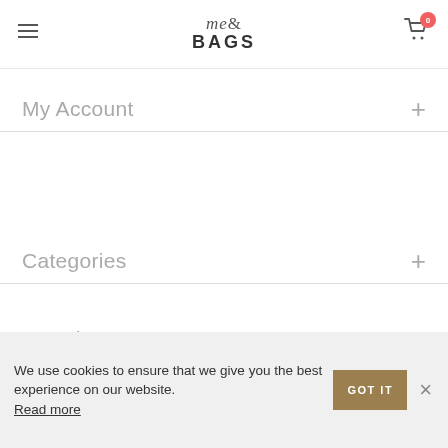me&BAGS [logo] | hamburger menu | cart with badge 0
My Account +
Categories +
Newsletter +
[Figure (other): Payment method logos: MasterCard, VISA, American Express, Discover, PayPal]
© 2018 mebags. All Rights Reserved | Tworzenie stron internetowych Astrabit
We use cookies to ensure that we give you the best experience on our website. Read more [GOT IT button] [X close]